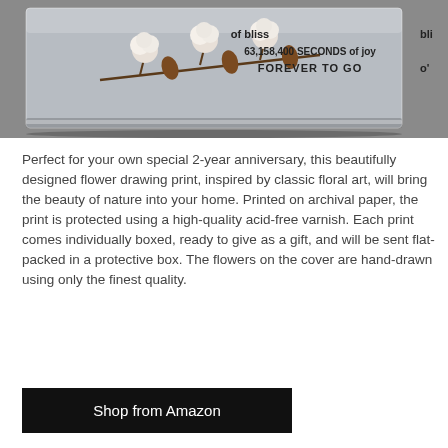[Figure (photo): An acrylic block keepsake with cotton flowers, displaying text: '63,158,400 SECONDS of joy FOREVER TO GO' and partially visible 'bliss' text on a gray background.]
Perfect for your own special 2-year anniversary, this beautifully designed flower drawing print, inspired by classic floral art, will bring the beauty of nature into your home. Printed on archival paper, the print is protected using a high-quality acid-free varnish. Each print comes individually boxed, ready to give as a gift, and will be sent flat-packed in a protective box. The flowers on the cover are hand-drawn using only the finest quality.
Shop from Amazon